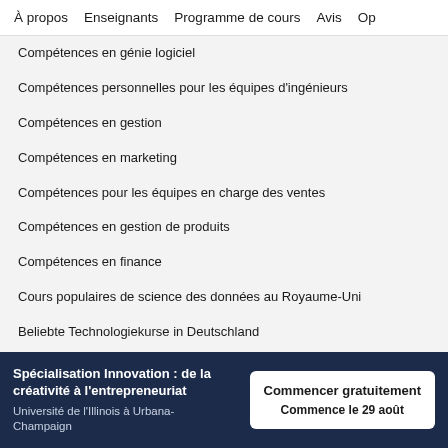À propos   Enseignants   Programme de cours   Avis   Op
Compétences en génie logiciel
Compétences personnelles pour les équipes d'ingénieurs
Compétences en gestion
Compétences en marketing
Compétences pour les équipes en charge des ventes
Compétences en gestion de produits
Compétences en finance
Cours populaires de science des données au Royaume-Uni
Beliebte Technologiekurse in Deutschland
Certifications populaires en cybersécurité
Certifications populaires en informatique
Spécialisation Innovation : de la créativité à l'entrepreneuriat
Université de l'Illinois à Urbana-Champaign
Commencer gratuitement
Commence le 29 août